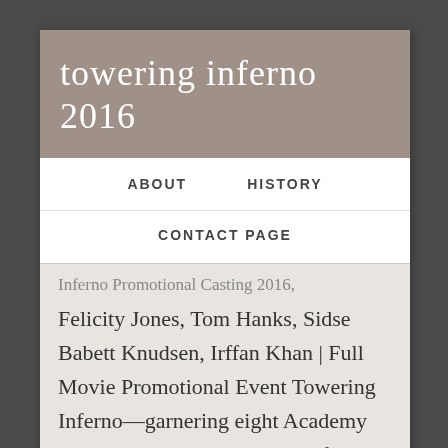towering inferno 2016
ABOUT    HISTORY
CONTACT PAGE
Felicity Jones, Tom Hanks, Sidse Babett Knudsen, Irffan Khan | Full Movie Promotional Event Towering Inferno—garnering eight Academy Award nominations and one of the highest-grossing films of the year—did indeed come to represent the genre at its peak. 99 to